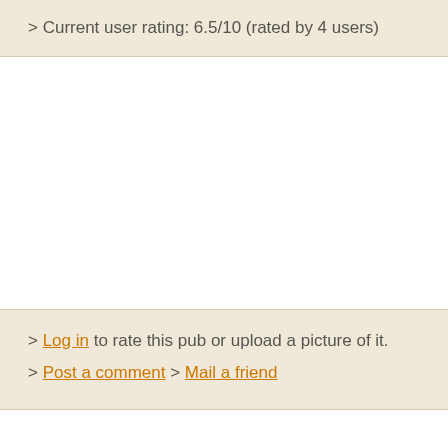> Current user rating: 6.5/10 (rated by 4 users)
> Log in to rate this pub or upload a picture of it.
> Post a comment > Mail a friend